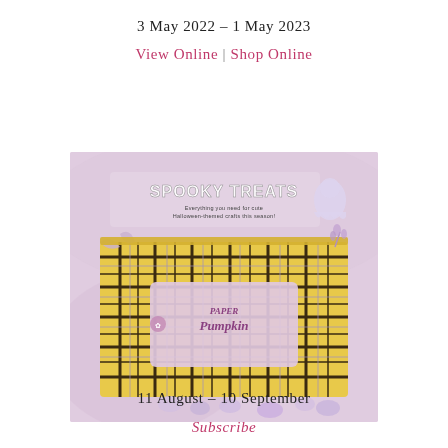3 May 2022 – 1 May 2023
View Online | Shop Online
[Figure (photo): Paper Pumpkin 'Spooky Treats' Halloween themed craft kit box with yellow plaid pattern, displayed on a pink/lavender background with candy decorations. Text reads: SPOOKY TREATS - Everything you need for cute Halloween-themed crafts this season!]
11 August – 10 September
Subscribe